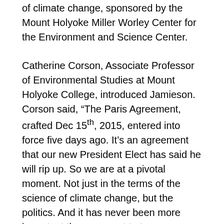of climate change, sponsored by the Mount Holyoke Miller Worley Center for the Environment and Science Center.
Catherine Corson, Associate Professor of Environmental Studies at Mount Holyoke College, introduced Jamieson. Corson said, “The Paris Agreement, crafted Dec 15th, 2015, entered into force five days ago. It’s an agreement that our new President Elect has said he will rip up. So we are at a pivotal moment. Not just in the terms of the science of climate change, but the politics. And it has never been more important than now, not to turn away disillusioned, but to have the courage to stand up for what we believe in.”